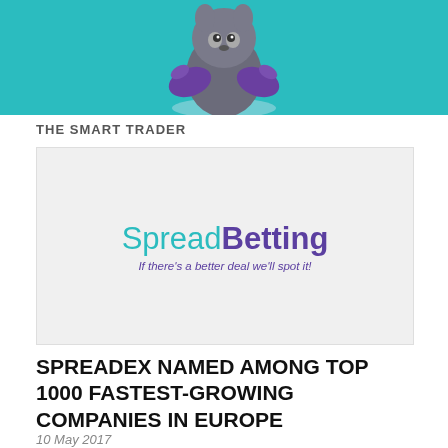[Figure (illustration): Teal/cyan header bar with a cartoon mascot character (fox or similar animal with purple wings) centered at the top]
THE SMART TRADER
[Figure (logo): SpreadBetting logo with tagline 'If there's a better deal we'll spot it!' displayed inside a light gray advertisement box. 'Spread' is in teal/cyan, 'Betting' is in bold purple.]
SPREADEX NAMED AMONG TOP 1000 FASTEST-GROWING COMPANIES IN EUROPE
10 May 2017
A City spread betting firm has been named among the top 1000